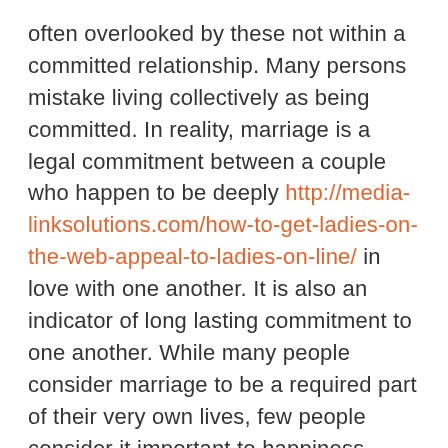often overlooked by these not within a committed relationship. Many persons mistake living collectively as being committed. In reality, marriage is a legal commitment between a couple who happen to be deeply http://media-linksolutions.com/how-to-get-ladies-on-the-web-appeal-to-ladies-on-line/ in love with one another. It is also an indicator of long lasting commitment to one another. While many people consider marriage to be a required part of their very own lives, few people consider it important to happiness. That is why, there are many factors to consider marriage and stay committed to your spouse.